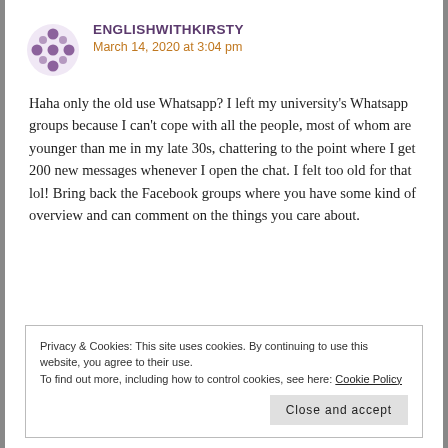ENGLISHWITHKIRSTY
March 14, 2020 at 3:04 pm
Haha only the old use Whatsapp? I left my university's Whatsapp groups because I can't cope with all the people, most of whom are younger than me in my late 30s, chattering to the point where I get 200 new messages whenever I open the chat. I felt too old for that lol! Bring back the Facebook groups where you have some kind of overview and can comment on the things you care about.
Privacy & Cookies: This site uses cookies. By continuing to use this website, you agree to their use.
To find out more, including how to control cookies, see here: Cookie Policy
Close and accept